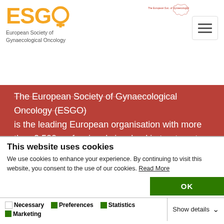ESGO European Society of Gynaecological Oncology
The European Society of Gynaecological Oncology (ESGO) is the leading European organisation with more than 2,500 professionals involved in treatment, care and research of gynaecologic cancers.
Contact us
Explore
This website uses cookies
We use cookies to enhance your experience. By continuing to visit this website, you consent to the use of our cookies. Read More
OK
Necessary  Preferences  Statistics  Marketing  Show details